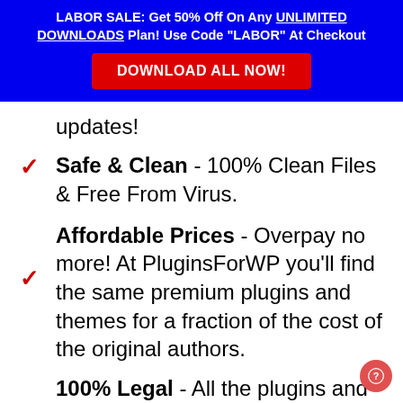LABOR SALE: Get 50% Off On Any UNLIMITED DOWNLOADS Plan! Use Code "LABOR" At Checkout
DOWNLOAD ALL NOW!
updates!
Safe & Clean - 100% Clean Files & Free From Virus.
Affordable Prices - Overpay no more! At PluginsForWP you'll find the same premium plugins and themes for a fraction of the cost of the original authors.
100% Legal - All the plugins and themes are released under the GPL (General Public License) license. It is 100% legal for us to redistribute the products to you. It is